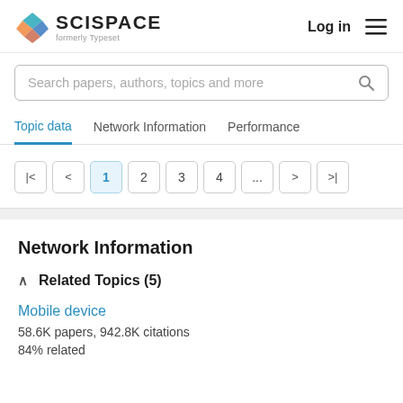[Figure (logo): SciSpace logo with colored diamond icon and text 'SCISPACE formerly Typeset']
Log in
Search papers, authors, topics and more
Topic data
Network Information
Performance
1 2 3 4 ... > >|
Network Information
∧   Related Topics (5)
Mobile device
58.6K papers, 942.8K citations
84% related